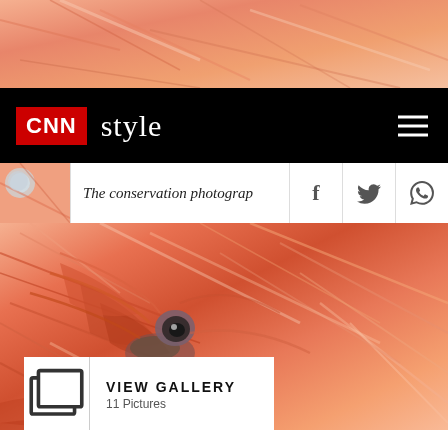[Figure (photo): Close-up photograph of flamingo feathers, orange and salmon colored, with eye partially visible]
CNN style
The conservation photograp
[Figure (photo): Main large close-up of flamingo feathers and eye, vivid orange and red tones, with VIEW GALLERY overlay showing 11 Pictures]